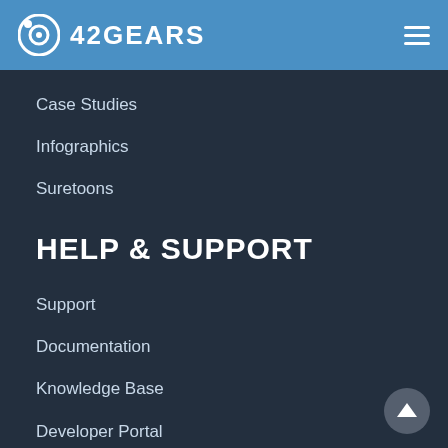42GEARS
Case Studies
Infographics
Suretoons
HELP & SUPPORT
Support
Documentation
Knowledge Base
Developer Portal
Community
Webinars
Raise a Ticket